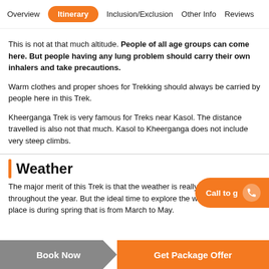Overview | Itinerary | Inclusion/Exclusion | Other Info | Reviews
This is not at that much altitude. People of all age groups can come here. But people having any lung problem should carry their own inhalers and take precautions.
Warm clothes and proper shoes for Trekking should always be carried by people here in this Trek.
Kheerganga Trek is very famous for Treks near Kasol. The distance travelled is also not that much. Kasol to Kheerganga does not include very steep climbs.
Weather
The major merit of this Trek is that the weather is really pleasant throughout the year. But the ideal time to explore the wilderness of this place is during spring that is from March to May.